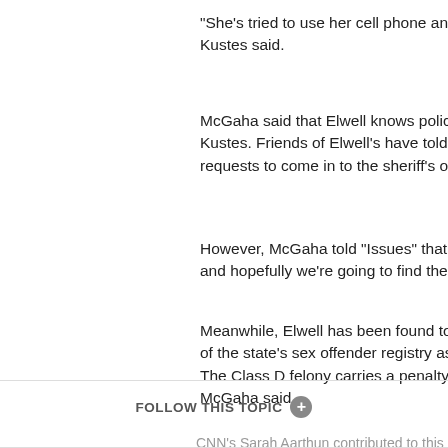"She's tried to use her cell phone and he... Kustes said.
McGaha said that Elwell knows police wa... Kustes. Friends of Elwell's have told polic... requests to come in to the sheriff's office,
However, McGaha told "Issues" that "the... and hopefully we're going to find them so...
Meanwhile, Elwell has been found to be n... of the state's sex offender registry as he... The Class D felony carries a penalty of u... McGaha said.
CNN's Sarah Aarthun contributed to this report.
Twitter  Share  Email  Save  Print
FOLLOW THIS TOPIC +